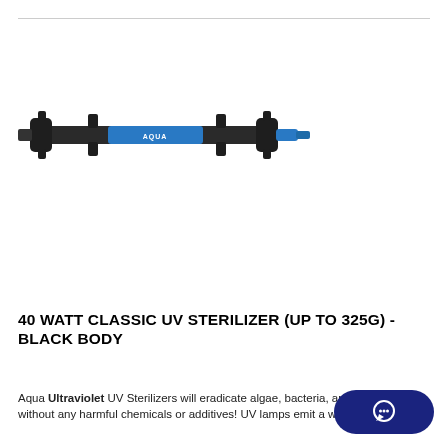[Figure (photo): A black-body UV sterilizer device with a blue AQUA label in the center, featuring two end caps and side port fittings, shown horizontally on a white background.]
40 WATT CLASSIC UV STERILIZER (UP TO 325G) - BLACK BODY
Aqua Ultraviolet UV Sterilizers will eradicate algae, bacteria, and viruses without any harmful chemicals or additives! UV lamps emit a wavelength that